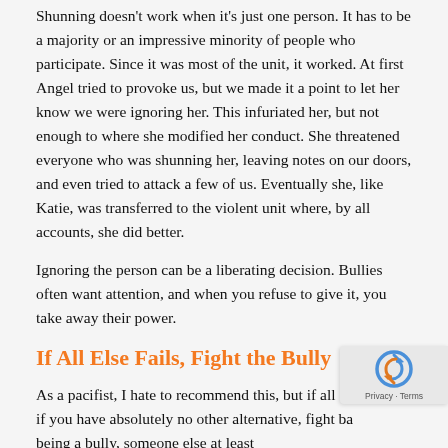Shunning doesn't work when it's just one person. It has to be a majority or an impressive minority of people who participate. Since it was most of the unit, it worked. At first Angel tried to provoke us, but we made it a point to let her know we were ignoring her. This infuriated her, but not enough to where she modified her conduct. She threatened everyone who was shunning her, leaving notes on our doors, and even tried to attack a few of us. Eventually she, like Katie, was transferred to the violent unit where, by all accounts, she did better.
Ignoring the person can be a liberating decision. Bullies often want attention, and when you refuse to give it, you take away their power.
If All Else Fails, Fight the Bully
As a pacifist, I hate to recommend this, but if all else fails, if you have absolutely no other alternative, fight back. By being a bully, someone else at least...